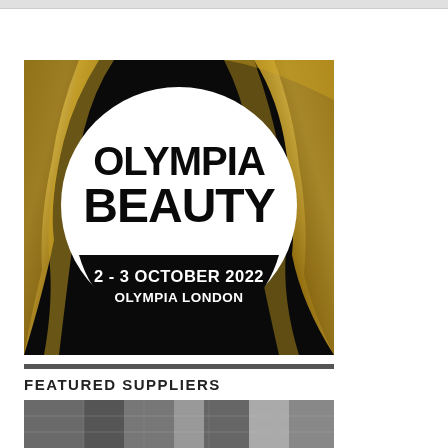[Figure (logo): Olympia Beauty event logo on black background with gold fabric texture. White circle containing bold text: OLYMPIA BEAUTY, 2 - 3 OCTOBER 2022, OLYMPIA LONDON]
FEATURED SUPPLIERS
[Figure (photo): Partial photo of a trade show or supplier display]